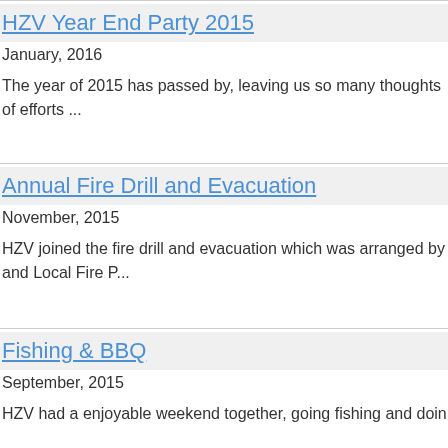HZV Year End Party 2015
January, 2016
The year of 2015 has passed by, leaving us so many thoughts of efforts ...
Annual Fire Drill and Evacuation
November, 2015
HZV joined the fire drill and evacuation which was arranged by and Local Fire P...
Fishing & BBQ
September, 2015
HZV had a enjoyable weekend together, going fishing and doin